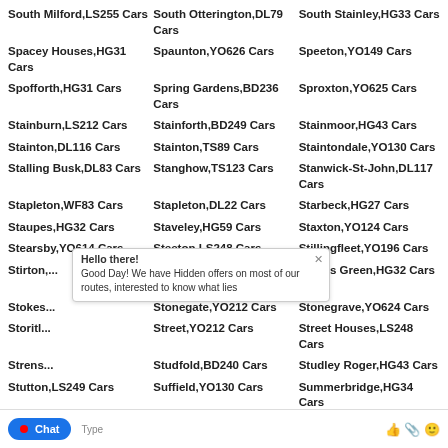South Milford,LS255 Cars
South Otterington,DL79 Cars
South Stainley,HG33 Cars
Spacey Houses,HG31 Cars
Spaunton,YO626 Cars
Speeton,YO149 Cars
Spofforth,HG31 Cars
Spring Gardens,BD236 Cars
Sproxton,YO625 Cars
Stainburn,LS212 Cars
Stainforth,BD249 Cars
Stainmoor,HG43 Cars
Stainton,DL116 Cars
Stainton,TS89 Cars
Staintondale,YO130 Cars
Stalling Busk,DL83 Cars
Stanghow,TS123 Cars
Stanwick-St-John,DL117 Cars
Stapleton,WF83 Cars
Stapleton,DL22 Cars
Starbeck,HG27 Cars
Staupes,HG32 Cars
Staveley,HG59 Cars
Staxton,YO124 Cars
Stearsby,YO614 Cars
Steeton,LS248 Cars
Stillingfleet,YO196 Cars
Stirton,...
St Nicholas Cliff,YO112 Cars
Stocks Green,HG32 Cars
Stokes...
Stonegate,YO212 Cars
Stonegrave,YO624 Cars
Storitl...
Street,YO212 Cars
Street Houses,LS248 Cars
Strens...
Studfold,BD240 Cars
Studley Roger,HG43 Cars
Stutton,LS249 Cars
Suffield,YO130 Cars
Summerbridge,HG34 Cars
Sutton Grange,HG43
Sutton Howgrave,DL82
Sutton WF449 Cars